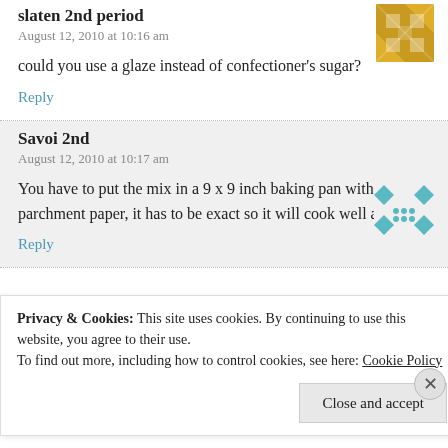slaten 2nd period
August 12, 2010 at 10:16 am
could you use a glaze instead of confectioner’s sugar?
Reply
Savoi 2nd
August 12, 2010 at 10:17 am
You have to put the mix in a 9 x 9 inch baking pan with parchment paper, it has to be exact so it will cook well and ever.
Reply
Privacy & Cookies: This site uses cookies. By continuing to use this website, you agree to their use.
To find out more, including how to control cookies, see here: Cookie Policy
Close and accept